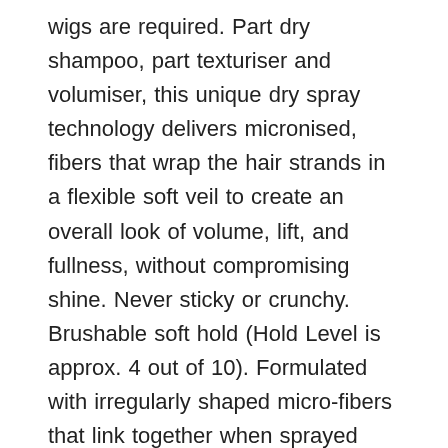wigs are required. Part dry shampoo, part texturiser and volumiser, this unique dry spray technology delivers micronised, fibers that wrap the hair strands in a flexible soft veil to create an overall look of volume, lift, and fullness, without compromising shine. Never sticky or crunchy. Brushable soft hold (Hold Level is approx. 4 out of 10). Formulated with irregularly shaped micro-fibers that link together when sprayed onto the hair. Allows for versatile styling while building volume and lift with your fingertips. Plumps and lifts individual strands to create the illusion of thicker, fuller hair without a powdery residue. Refreshes next day's hair. Formulated with ceramides, amino acids, and other conditioning ingredients. Proven Performance: